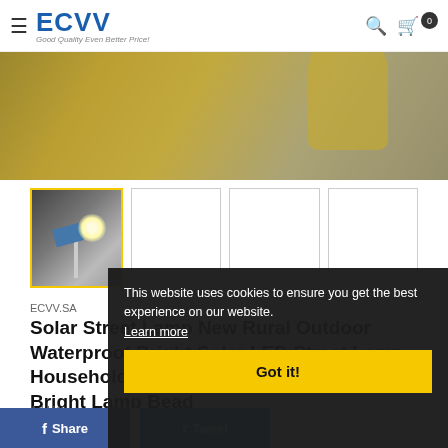ECVV — Good Quality Even Better Price!
[Figure (photo): Hero banner showing a person in a yellow jacket, overlaid with golden tint. ECVV logo and navigation bar visible at top.]
[Figure (photo): Thumbnail row: first thumbnail shows a solar street lamp (black and white photo with a bright LED), followed by three empty white placeholder thumbnail boxes.]
ECVV.SA
Solar Street Lamp New Rural Outdoor Waterproof Bright Solar LED Street Lamp Household Pole Street Lamp High Power Bright Lamp Bead
Add Your Review
[Figure (screenshot): Cookie consent overlay popup with dark background. Text: 'This website uses cookies to ensure you get the best experience on our website. Learn more'. Yellow 'Got it!' button at the bottom.]
This website uses cookies to ensure you get the best experience on our website.
Learn more
Got it!
Share   Tweet